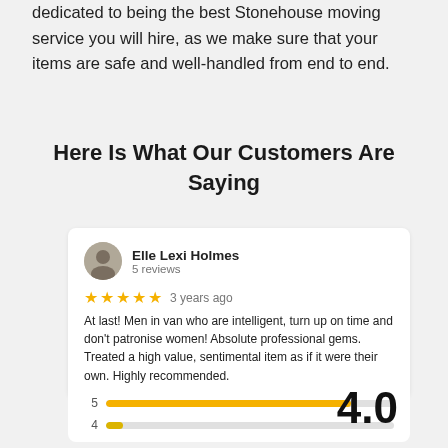dedicated to being the best Stonehouse moving service you will hire, as we make sure that your items are safe and well-handled from end to end.
Here Is What Our Customers Are Saying
[Figure (other): Customer review card from Elle Lexi Holmes, 5 reviews, 5 stars, 3 years ago. Review text: At last! Men in van who are intelligent, turn up on time and don't patronise women! Absolute professional gems. Treated a high value, sentimental item as if it were their own. Highly recommended.]
[Figure (bar-chart): Star rating distribution bars, row 5 with long gold bar, row 4 with short dot/bar. Large 4.0 rating displayed on right.]